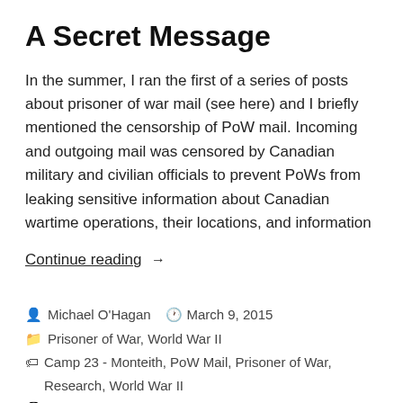A Secret Message
In the summer, I ran the first of a series of posts about prisoner of war mail (see here) and I briefly mentioned the censorship of PoW mail. Incoming and outgoing mail was censored by Canadian military and civilian officials to prevent PoWs from leaking sensitive information about Canadian wartime operations, their locations, and information
Continue reading →
Michael O'Hagan   March 9, 2015
Prisoner of War, World War II
Camp 23 - Monteith, PoW Mail, Prisoner of War, Research, World War II
1 Comment